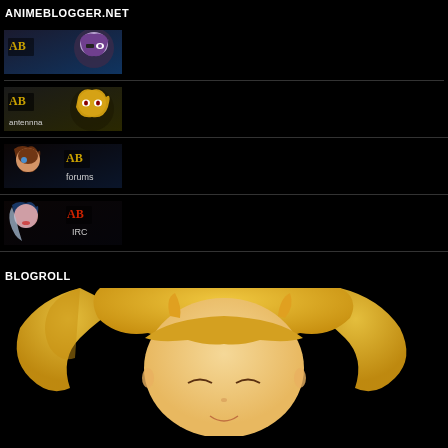ANIMEBLOGGER.NET
[Figure (illustration): AnimeBlogger.net banner with AB logo and anime character (purple hair, eyepatch)]
[Figure (illustration): AnimeBlogger antennna banner with AB logo and anime character (blonde hair)]
[Figure (illustration): AnimeBlogger forums banner with AB logo and anime character (brown hair)]
[Figure (illustration): AnimeBlogger IRC banner with AB logo and anime character (blue hair)]
BLOGROLL
[Figure (illustration): Anime character with long blonde twintail hair, partial view from above]